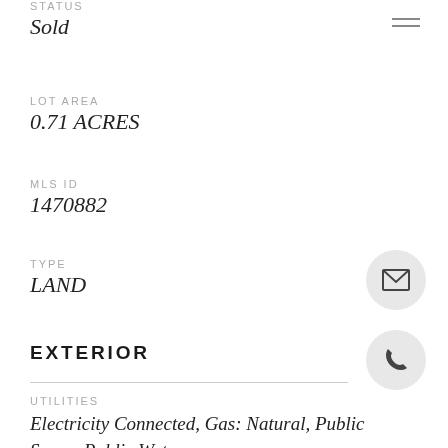STATUS
Sold
LOT AREA
0.71 ACRES
MLS ID
1470882
TYPE
LAND
EXTERIOR
UTILITIES
Electricity Connected, Gas: Natural, Public Sewer, Public Water